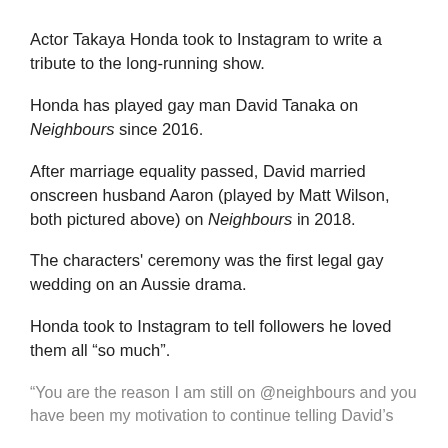Actor Takaya Honda took to Instagram to write a tribute to the long-running show.
Honda has played gay man David Tanaka on Neighbours since 2016.
After marriage equality passed, David married onscreen husband Aaron (played by Matt Wilson, both pictured above) on Neighbours in 2018.
The characters' ceremony was the first legal gay wedding on an Aussie drama.
Honda took to Instagram to tell followers he loved them all “so much”.
“You are the reason I am still on @neighbours and you have been my motivation to continue telling David’s